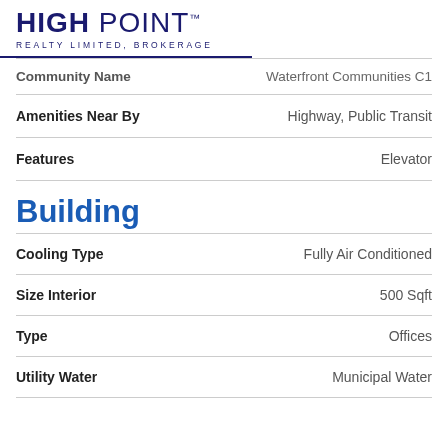[Figure (logo): High Point Realty Limited, Brokerage logo with bold dark navy text]
| Property | Value |
| --- | --- |
| Community Name | Waterfront Communities C1 |
| Amenities Near By | Highway, Public Transit |
| Features | Elevator |
Building
| Property | Value |
| --- | --- |
| Cooling Type | Fully Air Conditioned |
| Size Interior | 500 Sqft |
| Type | Offices |
| Utility Water | Municipal Water |